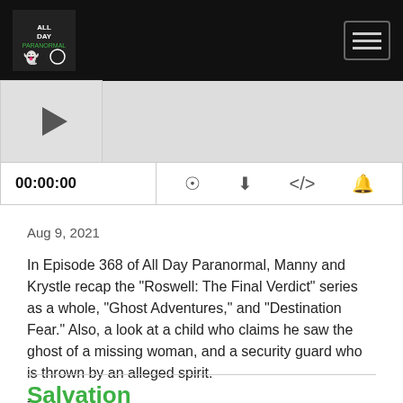All Day Paranormal — navigation bar with logo and hamburger menu
[Figure (screenshot): Podcast audio player with thumbnail, waveform area, time display 00:00:00, and control icons for RSS feed, download, embed code, and bell/notifications]
Aug 9, 2021
In Episode 368 of All Day Paranormal, Manny and Krystle recap the "Roswell: The Final Verdict" series as a whole, "Ghost Adventures," and "Destination Fear." Also, a look at a child who claims he saw the ghost of a missing woman, and a security guard who is thrown by an alleged spirit.
--
SHOW NOTES:
- Missing woman...
Read More
Salvation